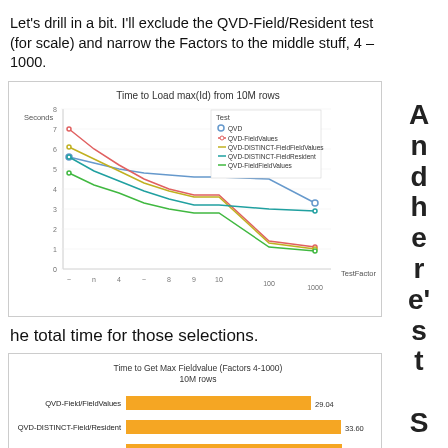Let's drill in a bit. I'll exclude the QVD-Field/Resident test (for scale) and narrow the Factors to the middle stuff, 4 – 1000.
[Figure (line-chart): Time to Load max(Id) from 10M rows]
he total time for those selections.
[Figure (bar-chart): Time to Get Max Fieldvalue (Factors 4-1000) 10M rows]